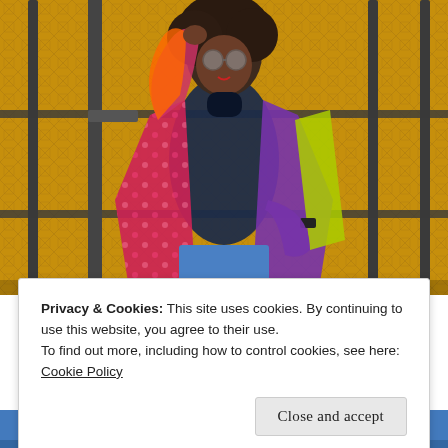[Figure (photo): A woman wearing a colorful African print patterned jacket/coat over a navy turtleneck and blue jeans, posing in front of a metal gate with yellow/gold diamond mesh background. She has natural curly hair and round sunglasses.]
Privacy & Cookies: This site uses cookies. By continuing to use this website, you agree to their use.
To find out more, including how to control cookies, see here: Cookie Policy
Close and accept
[Figure (photo): Bottom strip of a photo showing blue jeans/denim, partially cropped.]